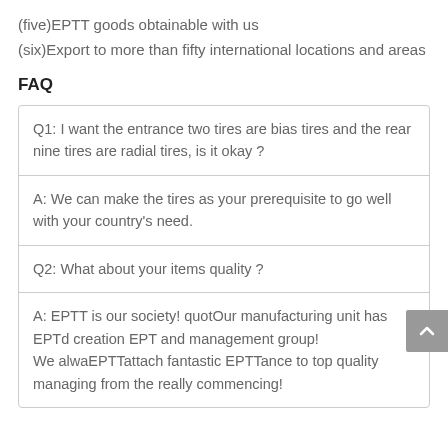(five)EPTT goods obtainable with us
(six)Export to more than fifty international locations and areas
FAQ
Q1: I want the entrance two tires are bias tires and the rear nine tires are radial tires, is it okay ?
A: We can make the tires as your prerequisite to go well with your country's need.
Q2: What about your items quality ?
A: EPTT is our society! quotOur manufacturing unit has EPTd creation EPT and management group!
We alwaEPTTattach fantastic EPTTance to top quality managing from the really commencing!